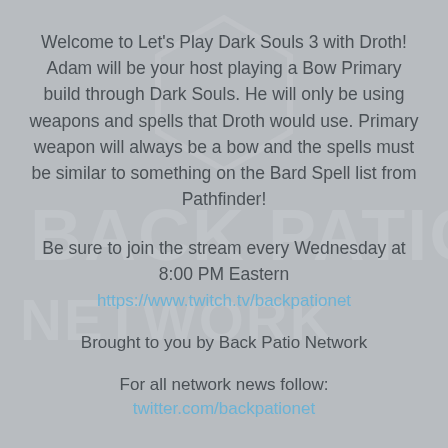[Figure (logo): Back Patio Network watermark logo text in large faded gray letters as background]
Welcome to Let's Play Dark Souls 3 with Droth! Adam will be your host playing a Bow Primary build through Dark Souls. He will only be using weapons and spells that Droth would use. Primary weapon will always be a bow and the spells must be similar to something on the Bard Spell list from Pathfinder!
Be sure to join the stream every Wednesday at 8:00 PM Eastern
https://www.twitch.tv/backpationet
Brought to you by Back Patio Network
For all network news follow:
twitter.com/backpationet